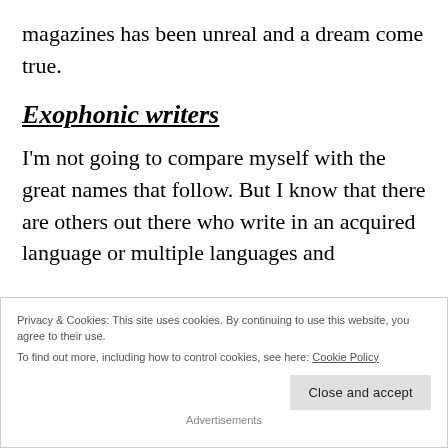magazines has been unreal and a dream come true.
Exophonic writers
I'm not going to compare myself with the great names that follow. But I know that there are others out there who write in an acquired language or multiple languages and
Privacy & Cookies: This site uses cookies. By continuing to use this website, you agree to their use.
To find out more, including how to control cookies, see here: Cookie Policy
Close and accept
Advertisements